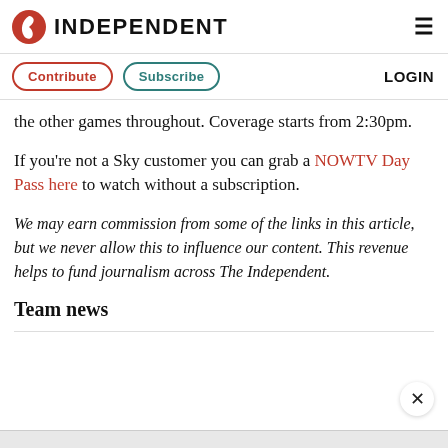INDEPENDENT
Contribute  Subscribe  LOGIN
the other games throughout. Coverage starts from 2:30pm.
If you're not a Sky customer you can grab a NOWTV Day Pass here to watch without a subscription.
We may earn commission from some of the links in this article, but we never allow this to influence our content. This revenue helps to fund journalism across The Independent.
Team news